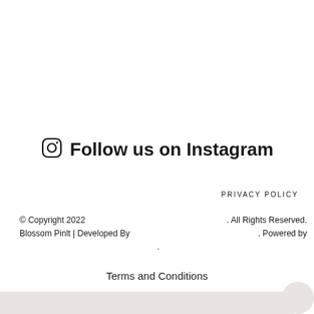Follow us on Instagram
PRIVACY POLICY
© Copyright 2022
Blossom Pinlt | Developed By
. All Rights Reserved.
. Powered by
.
Terms and Conditions